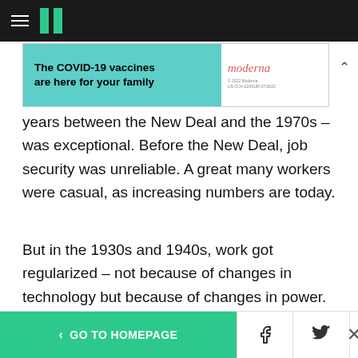HuffPost navigation bar with hamburger menu and logo
[Figure (other): Moderna COVID-19 vaccine advertisement banner: 'The COVID-19 vaccines are here for your family' on teal background, Moderna logo on right]
years between the New Deal and the 1970s – was exceptional. Before the New Deal, job security was unreliable. A great many workers were casual, as increasing numbers are today.
But in the 1930s and 1940s, work got regularized – not because of changes in technology but because of changes in power. Strong unions and government regulation blocked entire categories of exploitation. With weaker unions and
< GO TO HOMEPAGE  [Facebook] [Twitter] [X]